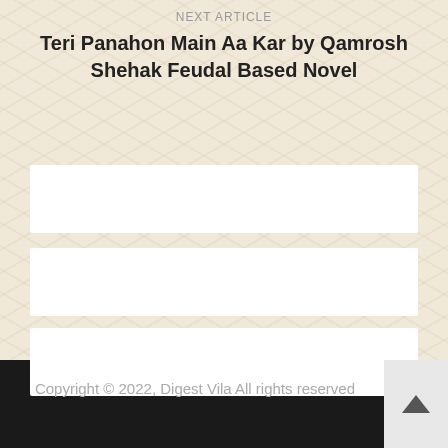NEXT ARTICLE
Teri Panahon Main Aa Kar by Qamrosh Shehak Feudal Based Novel
[Figure (other): Three white horizontal rectangular bars on textured beige background, representing placeholder content blocks]
Copyright © 2022, Digest Vila All rights reserved